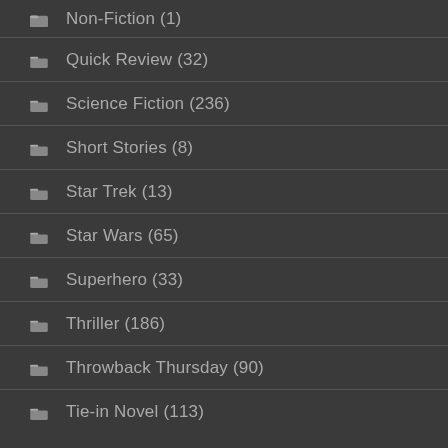Non-Fiction (1)
Quick Review (32)
Science Fiction (236)
Short Stories (8)
Star Trek (13)
Star Wars (65)
Superhero (33)
Thriller (186)
Throwback Thursday (90)
Tie-in Novel (113)